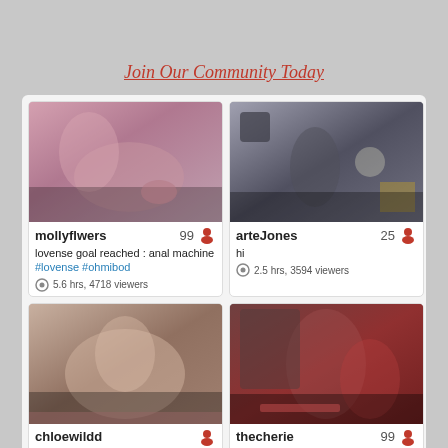Join Our Community Today
[Figure (photo): Thumbnail of mollyflwers stream]
mollyflwers 99
lovense goal reached : anal machine #lovense #ohmibod
5.6 hrs, 4718 viewers
[Figure (photo): Thumbnail of arteJones stream]
arteJones 25
hi
2.5 hrs, 3594 viewers
[Figure (photo): Thumbnail of chloewildd stream]
chloewildd
hello, i'm chloe ♥ let's have fun! #bigboobs #french #athletic #fit
3.1 hrs, 8403 viewers
[Figure (photo): Thumbnail of thecherie stream]
thecherie 99
bad girl play [3472 tokens left] || #erotic #fit #natural
3.4 hrs, 3843 viewers